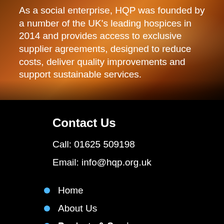As a social enterprise, HQP was founded by a number of the UK's leading hospices in 2014 and provides access to exclusive supplier agreements, designed to reduce costs, deliver quality improvements and support sustainable services.
Contact Us
Call: 01625 509198
Email: info@hqp.org.uk
Home
About Us
Products & Services
Contact Us